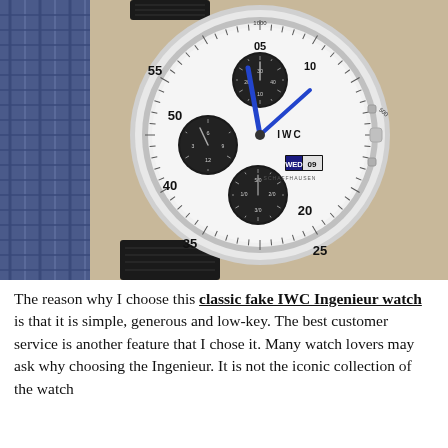[Figure (photo): Close-up photograph of an IWC Ingenieur chronograph watch with white dial, three black sub-dials, blue hands, showing WED 09 date display. Watch has a black leather strap and is resting against a blue knitted fabric with a wooden surface visible.]
The reason why I choose this classic fake IWC Ingenieur watch is that it is simple, generous and low-key. The best customer service is another feature that I chose it. Many watch lovers may ask why choosing the Ingenieur. It is not the iconic collection of the watch